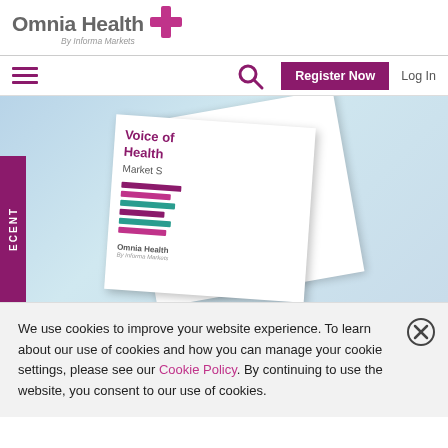[Figure (logo): Omnia Health logo with pink cross and subtitle 'By Informa Markets']
[Figure (screenshot): Navigation bar with hamburger menu, search icon, Register Now button, and Log In link]
[Figure (photo): Promotional image showing Omnia Health 'Voice of Health' Market report brochure with medical/tech imagery, and a purple ECENT sidebar label]
We use cookies to improve your website experience. To learn about our use of cookies and how you can manage your cookie settings, please see our Cookie Policy. By continuing to use the website, you consent to our use of cookies.